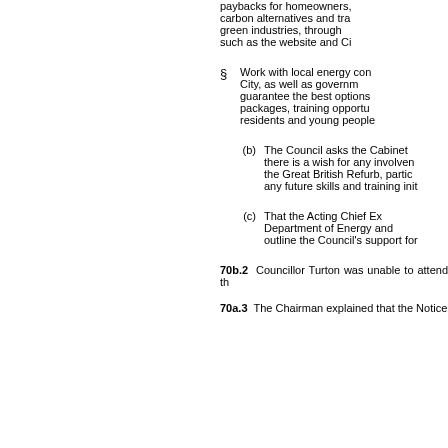paybacks for homeowners, carbon alternatives and training green industries, through such as the website and Ci
Work with local energy con City, as well as governm guarantee the best options packages, training opportu residents and young people
(b) The Council asks the Cabinet there is a wish for any involven the Great British Refurb, partic any future skills and training init
(c) That the Acting Chief Ex Department of Energy and outline the Council's support for
70b.2 Councillor Turton was unable to attend th
70a.3 The Chairman explained that the Notice